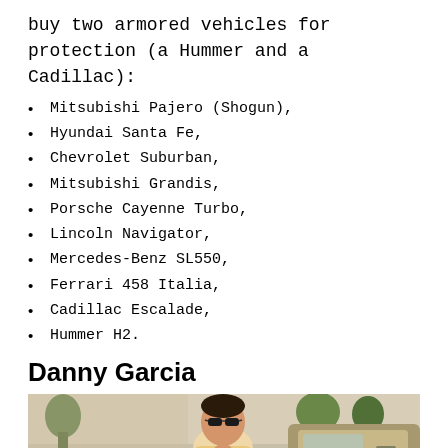buy two armored vehicles for protection (a Hummer and a Cadillac):
Mitsubishi Pajero (Shogun),
Hyundai Santa Fe,
Chevrolet Suburban,
Mitsubishi Grandis,
Porsche Cayenne Turbo,
Lincoln Navigator,
Mercedes-Benz SL550,
Ferrari 458 Italia,
Cadillac Escalade,
Hummer H2.
Danny Garcia
[Figure (photo): Photo of Danny Garcia wearing sunglasses, seated in front of a car with plants in background]